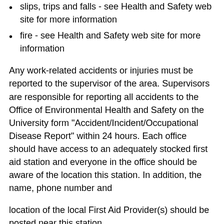slips, trips and falls - see Health and Safety web site for more information
fire - see Health and Safety web site for more information
Any work-related accidents or injuries must be reported to the supervisor of the area. Supervisors are responsible for reporting all accidents to the Office of Environmental Health and Safety on the University form "Accident/Incident/Occupational Disease Report" within 24 hours. Each office should have access to an adequately stocked first aid station and everyone in the office should be aware of the location this station. In addition, the name, phone number and
location of the local First Aid Provider(s) should be posted near this station
At any point, report any imminent hazards (i.e. could cause